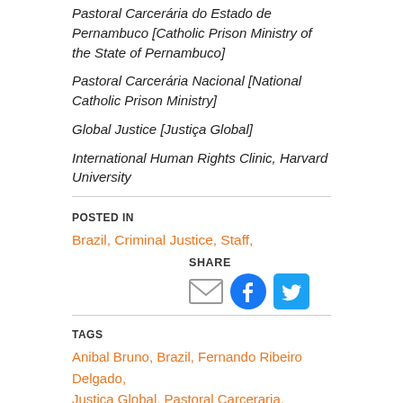Pastoral Carcerária do Estado de Pernambuco [Catholic Prison Ministry of the State of Pernambuco]
Pastoral Carcerária Nacional [National Catholic Prison Ministry]
Global Justice [Justiça Global]
International Human Rights Clinic, Harvard University
POSTED IN
Brazil, Criminal Justice, Staff,
SHARE
[Figure (other): Social share icons: email envelope, Facebook circle, Twitter circle]
TAGS
Anibal Bruno, Brazil, Fernando Ribeiro Delgado, Justica Global, Pastoral Carceraria, Pernambuco, Serviço Ecumênico de Militância nas Prisões,
June 19, 2015